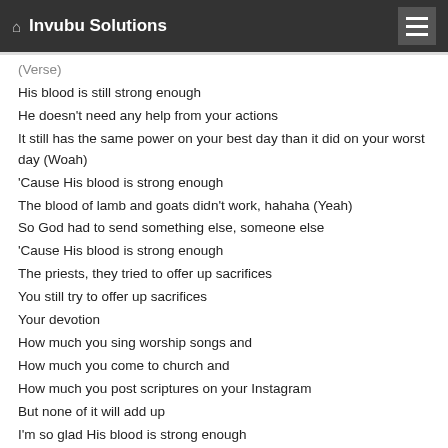Invubu Solutions
(Verse)
His blood is still strong enough
He doesn't need any help from your actions
It still has the same power on your best day than it did on your worst day (Woah)
'Cause His blood is strong enough
The blood of lamb and goats didn't work, hahaha (Yeah)
So God had to send something else, someone else
'Cause His blood is strong enough
The priests, they tried to offer up sacrifices
You still try to offer up sacrifices
Your devotion
How much you sing worship songs and
How much you come to church and
How much you post scriptures on your Instagram
But none of it will add up
I'm so glad His blood is strong enough